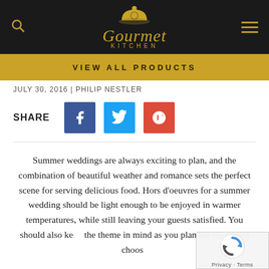[Figure (logo): Gourmet Kitchen logo with cloche icon, gold script and kitchen text on dark background]
VIEW ALL PRODUCTS
JULY 30, 2016 | PHILIP NESTLER
SHARE
[Figure (screenshot): Social share buttons: Facebook, Twitter, Google+]
Summer weddings are always exciting to plan, and the combination of beautiful weather and romance sets the perfect scene for serving delicious food. Hors d'oeuvres for a summer wedding should be light enough to be enjoyed in warmer temperatures, while still leaving your guests satisfied. You should also keep the theme in mind as you plan the menu and choose...